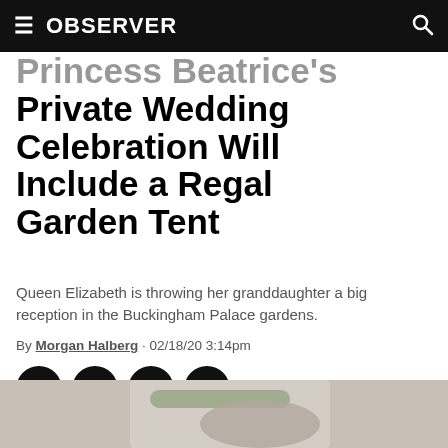OBSERVER
Princess Beatrice's Private Wedding Celebration Will Include a Regal Garden Tent
Queen Elizabeth is throwing her granddaughter a big reception in the Buckingham Palace gardens.
By Morgan Halberg · 02/18/20 3:14pm
[Figure (other): Social share buttons: Facebook, Twitter, LinkedIn, Email]
[Figure (photo): Partial photo at bottom of page showing floral/garden subject]